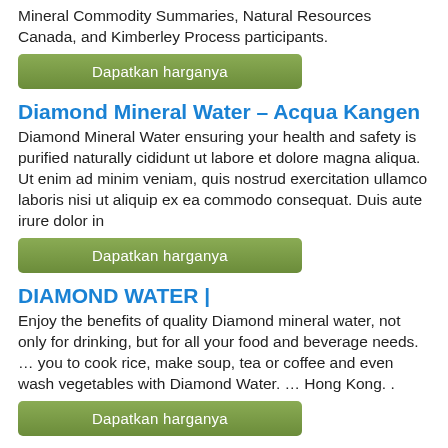Mineral Commodity Summaries, Natural Resources Canada, and Kimberley Process participants.
Dapatkan harganya
Diamond Mineral Water – Acqua Kangen
Diamond Mineral Water ensuring your health and safety is purified naturally cididunt ut labore et dolore magna aliqua. Ut enim ad minim veniam, quis nostrud exercitation ullamco laboris nisi ut aliquip ex ea commodo consequat. Duis aute irure dolor in
Dapatkan harganya
DIAMOND WATER |
Enjoy the benefits of quality Diamond mineral water, not only for drinking, but for all your food and beverage needs. … you to cook rice, make soup, tea or coffee and even wash vegetables with Diamond Water. … Hong Kong. .
Dapatkan harganya
Diamond Water: Best Bottled Water